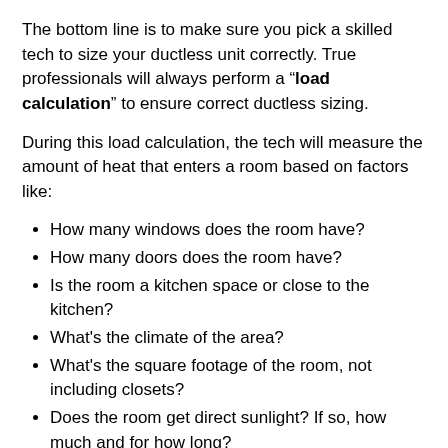The bottom line is to make sure you pick a skilled tech to size your ductless unit correctly. True professionals will always perform a "load calculation" to ensure correct ductless sizing.
During this load calculation, the tech will measure the amount of heat that enters a room based on factors like:
How many windows does the room have?
How many doors does the room have?
Is the room a kitchen space or close to the kitchen?
What's the climate of the area?
What's the square footage of the room, not including closets?
Does the room get direct sunlight? If so, how much and for how long?
How well is the room insulated?
What height are the ceilings?
Are there any additional heat sources in the room?
How many lightbulbs are in the room? What kind of lightbulbs are they?